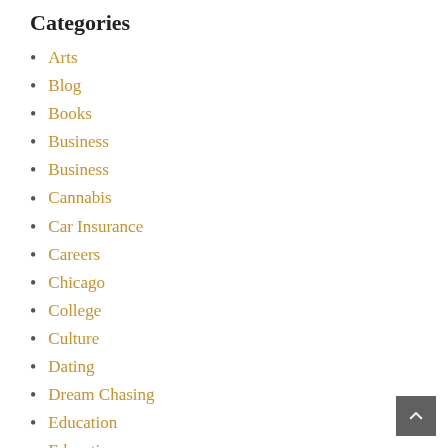Categories
Arts
Blog
Books
Business
Business
Cannabis
Car Insurance
Careers
Chicago
College
Culture
Dating
Dream Chasing
Education
Education
Elections
Entrepreneurship